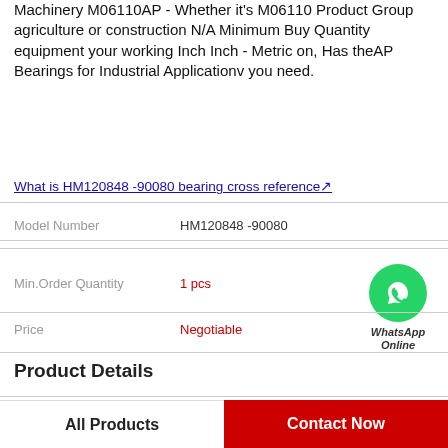Machinery M06110AP - Whether it's M06110 Product Group agriculture or construction N/A Minimum Buy Quantity equipment your working Inch Inch - Metric on, Has theAP Bearings for Industrial Applicationv you need.
What is HM120848 -90080 bearing cross reference↗
|  |  |
| --- | --- |
| Model Number | HM120848 -90080 |
| Min.Order Quantity | 1 pcs |
| Price | Negotiable |
Product Details
| Product Group | M06110 |
| --- | --- |
| Minimum Buy | N/A |
All Products
Contact Now